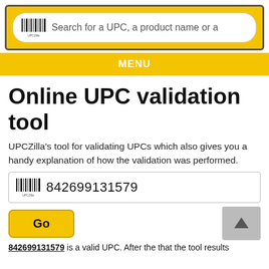[Figure (screenshot): UPCZilla website header with barcode logo and search bar reading 'Search for a UPC, a product name or a']
MENU
Online UPC validation tool
UPCZilla's tool for validating UPCs which also gives you a handy explanation of how the validation was performed.
[Figure (screenshot): UPC input field showing barcode icon and number 842699131579, with a yellow Go button and grey scroll-to-top button]
842699131579 is a valid UPC. After the that the tool results